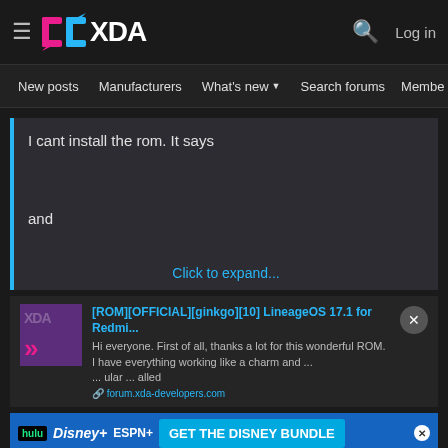XDA Developers Forum - Navigation bar with hamburger menu, XDA logo, search icon, Log in
New posts  Manufacturers  What's new  Search forums  Membe  >
I cant install the rom. It says

and

Click to expand...
[ROM][OFFICIAL][ginkgo][10] LineageOS 17.1 for Redmi... Hi everyone. First of all, thanks a lot for this wonderful ROM. I have everything working like a charm and ... ular ... alled
forum.xda-developers.com
[Figure (screenshot): Disney Bundle advertisement banner with Hulu, Disney+, ESPN+ logos and GET THE DISNEY BUNDLE CTA button]